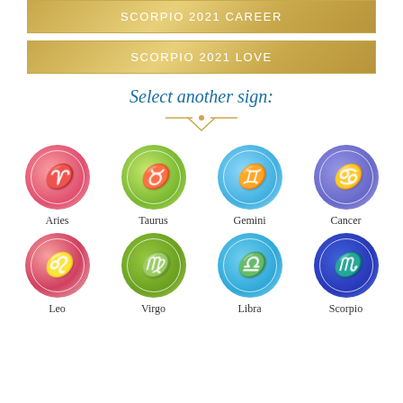SCORPIO 2021 CAREER
SCORPIO 2021 LOVE
Select another sign:
[Figure (infographic): Eight zodiac sign circles in two rows: Aries (red/pink), Taurus (green), Gemini (light blue), Cancer (purple-blue), Leo (red/pink), Virgo (green), Libra (light blue), Scorpio (dark blue), each with their symbol and name below.]